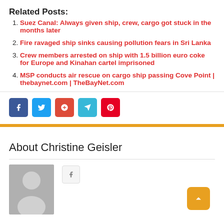Related Posts:
Suez Canal: Always given ship, crew, cargo got stuck in the months later
Fire ravaged ship sinks causing pollution fears in Sri Lanka
Crew members arrested on ship with 1.5 billion euro coke for Europe and Kinahan cartel imprisoned
MSP conducts air rescue on cargo ship passing Cove Point | thebaynet.com | TheBayNet.com
[Figure (infographic): Social share buttons: Facebook (dark blue), Twitter (light blue), Google (orange-red), Telegram (cyan), Pinterest (red)]
About Christine Geisler
[Figure (photo): Author avatar placeholder with silhouette icon on grey background]